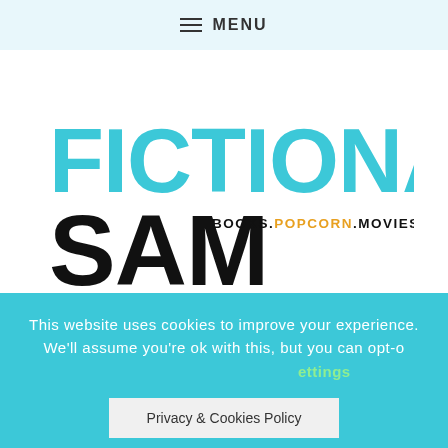≡ MENU
[Figure (logo): Fictionally Sam logo — 'FICTIONALLY' in large cyan bold condensed font on top, 'SAM' in large black bold condensed font below left, with tagline 'BOOKS.POPCORN.MOVIES.SWOON' in smaller text where POPCORN is in orange and SWOON is in red/pink]
This website uses cookies to improve your experience. We'll assume you're ok with this, but you can opt-o... Privacy & Cookies Policy ...ettings